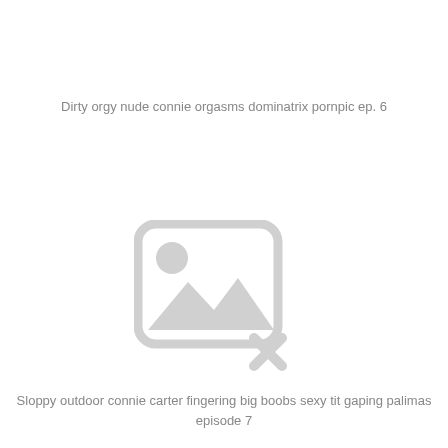Dirty orgy nude connie orgasms dominatrix pornpic ep. 6
[Figure (illustration): Broken/missing image placeholder icon — rounded rectangle with mountain landscape and sun icon, with an X mark at bottom right, rendered in light gray]
Sloppy outdoor connie carter fingering big boobs sexy tit gaping palimas episode 7